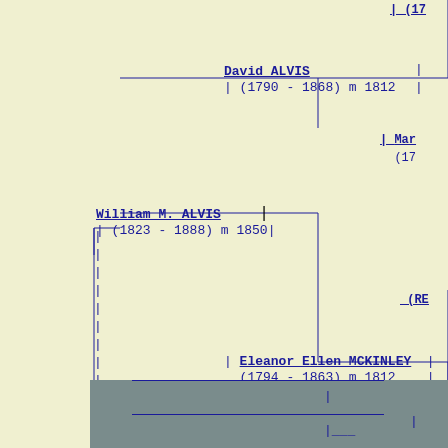[Figure (organizational-chart): Genealogy/family tree chart showing ancestors: David ALVIS (1790-1868) m 1812, William M. ALVIS (1823-1888) m 1850, Eleanor Ellen MCKINLEY (1794-1863) m 1812, James Albert ALVIS (1854-...), C. D. LAPPING (1830-1856) m 1850, with partial entries cut off at right edge (RE... and 17...) and connecting lines forming a tree structure.]